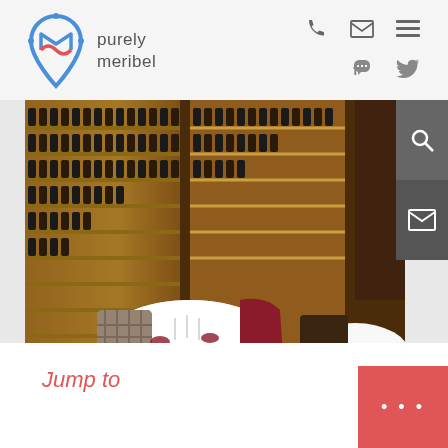[Figure (logo): Purely Meribel logo with stylized location pin icon in blue and red, with text 'purely meribel']
[Figure (photo): Restaurant interior with wine bottle shelves lit in warm yellow light, white tablecloth tables, and upholstered chairs in plaid and burgundy fabric]
Jump to
...